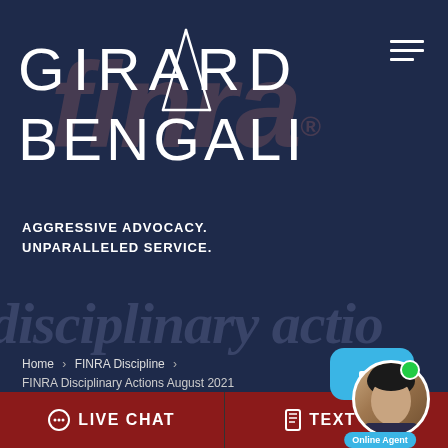[Figure (logo): Girard Bengali law firm logo with diagonal slash graphic on dark navy background, with FINRA watermark behind]
AGGRESSIVE ADVOCACY.
UNPARALLELED SERVICE.
disciplinary actions
Home > FINRA Discipline > FINRA Disciplinary Actions August 2021
FINRA Disciplinary Actions August 2021
[Figure (photo): Online agent chat widget with photo of Asian male agent and green online indicator dot]
LIVE CHAT
TEXT US